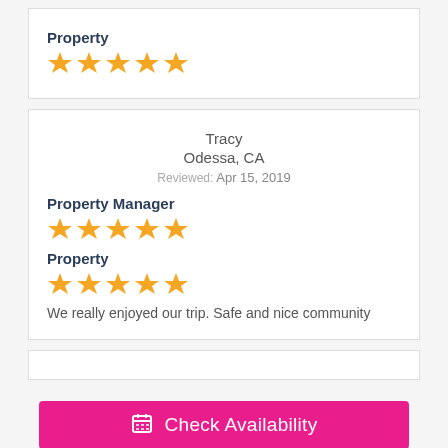Property
[Figure (other): 5 orange star rating icons]
Tracy
Odessa, CA
Reviewed: Apr 15, 2019
Property Manager
[Figure (other): 5 orange star rating icons]
Property
[Figure (other): 5 orange star rating icons (last slightly different)]
We really enjoyed our trip. Safe and nice community
Check Availability